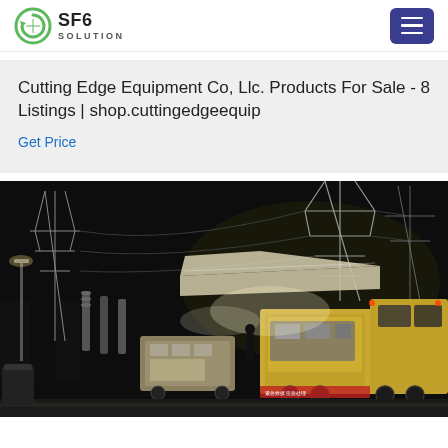SF6 SOLUTION
Cutting Edge Equipment Co, Llc. Products For Sale - 8 Listings | shop.cuttingedgeequip
Get Price
[Figure (photo): Night scene at an electrical substation with high-voltage transmission towers and power lines. A yellow utility/service truck is parked in the foreground on the right, with equipment trailers or service units nearby. Workers appear to be operating equipment. The scene is illuminated by artificial lighting against a dark sky.]